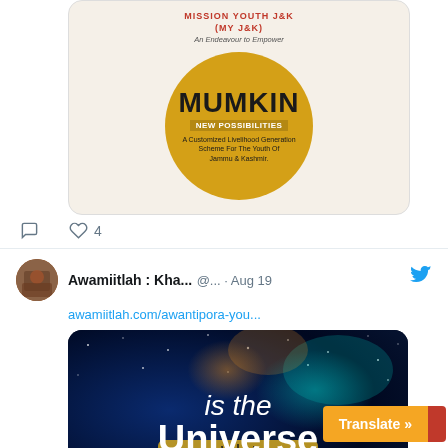[Figure (illustration): MUMKIN - Mission Youth J&K promotional image with golden circle, text 'MUMKIN NEW POSSIBILITIES, A Customized Livelihood Generation Scheme For The Youth Of Jammu & Kashmir']
♡ 4
[Figure (photo): Twitter/X profile avatar for Awamiitlah : Kha...]
Awamiitlah : Kha... @... · Aug 19
awamiitlah.com/awantipora-you...
[Figure (illustration): Dark space/universe background image with text 'is the Universe' and an eye in cosmic style]
awamiitlah.com
Translate »